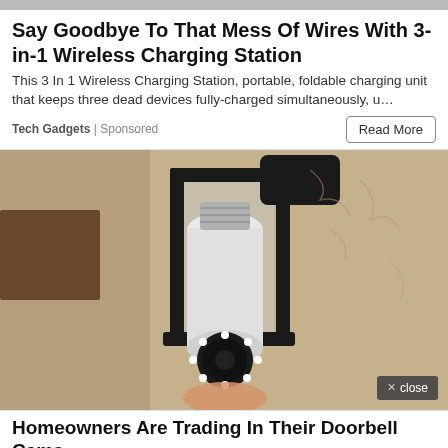Say Goodbye To That Mess Of Wires With 3-in-1 Wireless Charging Station
This 3 In 1 Wireless Charging Station, portable, foldable charging unit that keeps three dead devices fully-charged simultaneously, u…
Tech Gadgets | Sponsored
[Figure (photo): A security camera shaped like a light bulb inserted into an outdoor wall lantern fixture, mounted on a textured stucco wall]
Homeowners Are Trading In Their Doorbell Cams